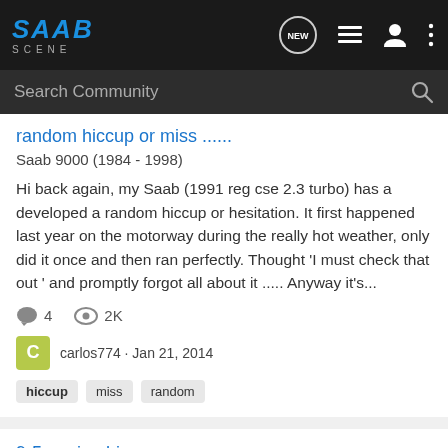[Figure (screenshot): Saab Scene community forum website header with logo and navigation icons]
Search Community
random hiccup or miss ......
Saab 9000 (1984 - 1998)
Hi back again, my Saab (1991 reg cse 2.3 turbo) has a developed a random hiccup or hesitation. It first happened last year on the motorway during the really hot weather, only did it once and then ran perfectly. Thought 'I must check that out ' and promptly forgot all about it ..... Anyway it's...
4  2K
carlos774 · Jan 21, 2014
hiccup  miss  random
9-5 engine hiccup
Classic Saab 9-5 (1997 - 2009)